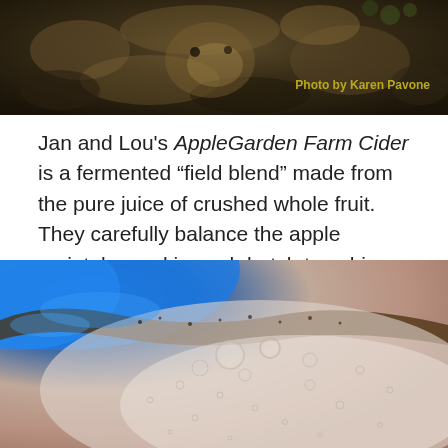[Figure (photo): Close-up photo of a farm animal (goat or deer) with blurred background, dark tones. Text overlay: 'Photo by Karen Pavone' in gold/olive color.]
Jan and Lou's AppleGarden Farm Cider is a fermented “field blend” made from the pure juice of crushed whole fruit. They carefully balance the apple varietals used in each batch to achieve the desired flavor profile, and they never add sugar or concentrates to the mix.
[Figure (photo): Close-up macro photo of fermenting apple cider showing bubbles and foam on the surface, with vivid blue rim of a fermentation vessel, blue and brown tones.]